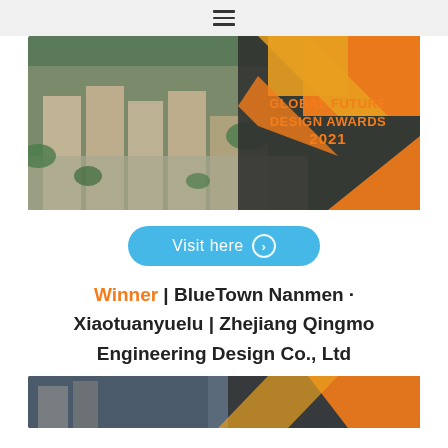≡
[Figure (photo): Aerial view of BlueTown Nanmen residential complex with orange/dark geometric overlay branding and text 'GLOBAL FUTURE DESIGN AWARDS 2021']
Visit here >
Winner | BlueTown Nanmen · Xiaotuanyuelu | Zhejiang Qingmo Engineering Design Co., Ltd
[Figure (photo): Partial aerial view of a building with orange/dark geometric design overlay at bottom of page]